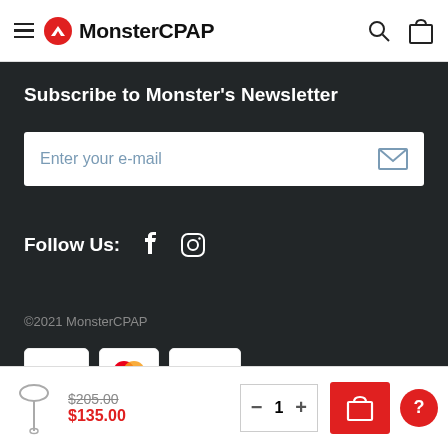MonsterCPAP
Subscribe to Monster's Newsletter
Enter your e-mail
Follow Us:
©2021 MonsterCPAP
[Figure (logo): Payment badges: VISA, Mastercard, PayPal]
$205.00  $135.00